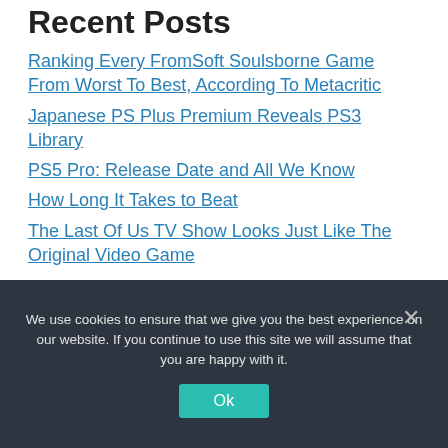Recent Posts
Ranking Every FromSoft Soulsborne Game From Worst To Best, According To Metacritic
Japanese PS Plus Premium Reveals PS3 Library
PS5 Pro: Release Date and All We Know
How Long It Takes to Beat
The Last Of Us TV Show Looks Just Like The Original Video Game
We use cookies to ensure that we give you the best experience on our website. If you continue to use this site we will assume that you are happy with it.